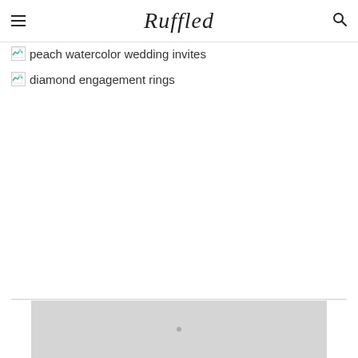Ruffled
peach watercolor wedding invites
diamond engagement rings
[Figure (photo): Partially loaded image placeholder at bottom of page]